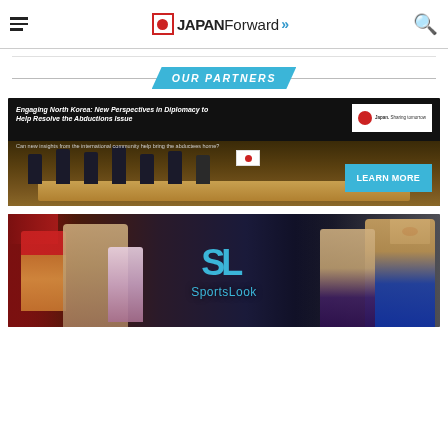JAPAN Forward
OUR PARTNERS
[Figure (photo): Advertisement banner for 'Engaging North Korea: New Perspectives in Diplomacy to Help Resolve the Abductions Issue' with a LEARN MORE button and Japan sharing tomorrow logo]
[Figure (photo): Advertisement banner for SportsLook featuring various Japanese athletes]